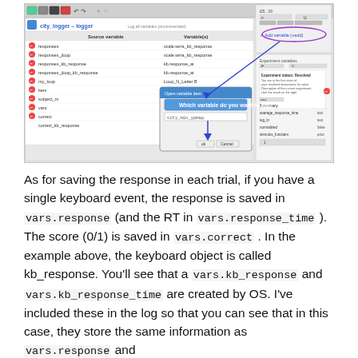[Figure (screenshot): Screenshot of OpenSesame logger plugin window showing variable list with columns 'Source variable' and 'Variable(s)', and a popup dialog 'Which variable do you want to log?' with 'city_min_ypmap' entered. Arrows drawn in purple/blue pointing to 'Add variable (+add)' button and the text field. Also shows a separate panel on the right side with experiment variables listed including average_response_time, log_in, normalized, stimulus_funcitem.]
As for saving the response in each trial, if you have a single keyboard event, the response is saved in vars.response (and the RT in vars.response_time ). The score (0/1) is saved in vars.correct . In the example above, the keyboard object is called kb_response. You'll see that a vars.kb_response and vars.kb_response_time are created by OS. I've included these in the log so that you can see that in this case, they store the same information as vars.response and